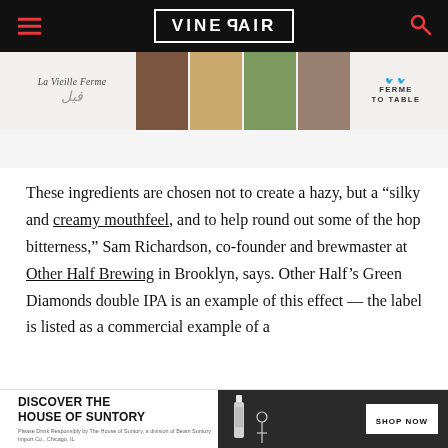VINEPAIR
[Figure (photo): La Vieille Ferme advertising banner with product photos showing wine bottles and food/produce imagery, with 'FERME TO TABLE' text on right]
These ingredients are chosen not to create a hazy, but a “silky and creamy mouthfeel, and to help round out some of the hop bitterness,” Sam Richardson, co-founder and brewmaster at Other Half Brewing in Brooklyn, says. Other Half’s Green Diamonds double IPA is an example of this effect — the label is listed as a commercial example of a
[Figure (infographic): DISCOVER THE HOUSE OF SUNTORY advertisement with bottle and cocktail glass, Shop Now button]